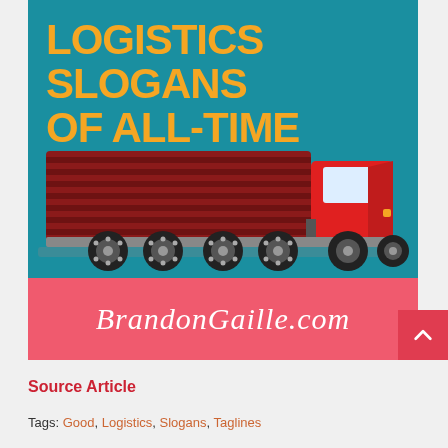[Figure (illustration): Logistics slogans of all-time blog post cover image with orange bold text on teal background, a flat illustration of a red semi-truck, and a coral/pink banner with BrandonGaille.com in white cursive script]
Source Article
Tags: Good, Logistics, Slogans, Taglines